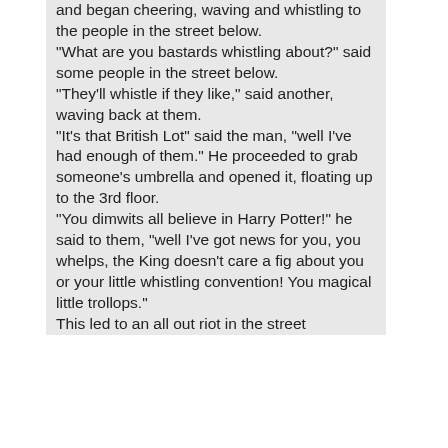and began cheering, waving and whistling to the people in the street below. "What are you bastards whistling about?" said some people in the street below. "They'll whistle if they like," said another, waving back at them. "It's that British Lot" said the man, "well I've had enough of them." He proceeded to grab someone's umbrella and opened it, floating up to the 3rd floor. "You dimwits all believe in Harry Potter!" he said to them, "well I've got news for you, you whelps, the King doesn't care a fig about you or your little whistling convention! You magical little trollops." This led to an all out riot in the street